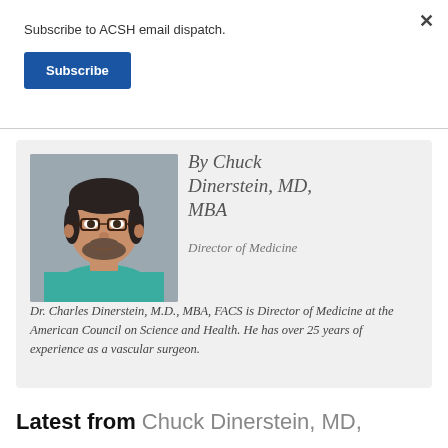Subscribe to ACSH email dispatch.
Subscribe
[Figure (photo): Headshot photo of Chuck Dinerstein, a middle-aged man with glasses, dark hair and beard, wearing a teal/green medical scrub top, photographed against a neutral grey background.]
By Chuck Dinerstein, MD, MBA
Director of Medicine
Dr. Charles Dinerstein, M.D., MBA, FACS is Director of Medicine at the American Council on Science and Health. He has over 25 years of experience as a vascular surgeon.
Latest from Chuck Dinerstein, MD,